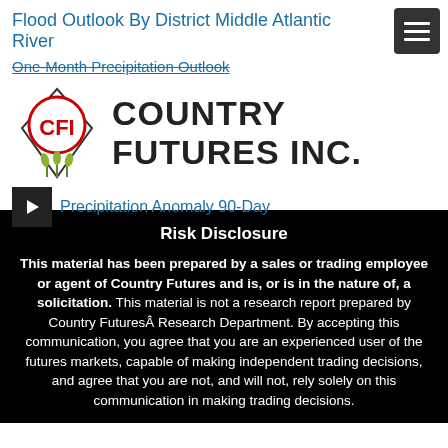Flood Outlook By District Middle Atlantic River
One-Month Precipitation Outlook
[Figure (logo): Country Futures Inc. logo with CFI emblem and wheat graphic]
Precipitation Anomaly 90-Day
Risk Disclosure
This material has been prepared by a sales or trading employee or agent of Country Futures and is, or is in the nature of, a solicitation. This material is not a research report prepared by Country FuturesÂ Research Department. By accepting this communication, you agree that you are an experienced user of the futures markets, capable of making independent trading decisions, and agree that you are not, and will not, rely solely on this communication in making trading decisions.